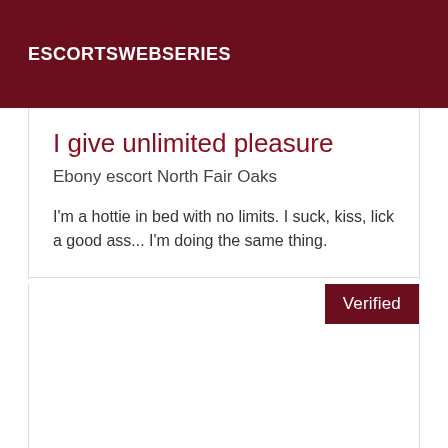ESCORTSWEBSERIES
I give unlimited pleasure
Ebony escort North Fair Oaks
I'm a hottie in bed with no limits. I suck, kiss, lick a good ass... I'm doing the same thing.
Verified